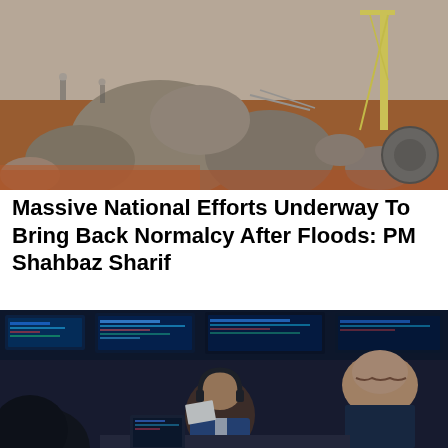[Figure (photo): Aerial or ground-level view of flood damage and recovery efforts, showing large boulders and rubble, construction machinery (crane/excavator) in the background, reddish-brown muddy earth]
Massive National Efforts Underway To Bring Back Normalcy After Floods: PM Shahbaz Sharif
[Figure (photo): Stock exchange trading floor scene with traders/brokers working at stations, multiple electronic display screens showing stock data in blue/teal tones, people in suits including one with headphones]